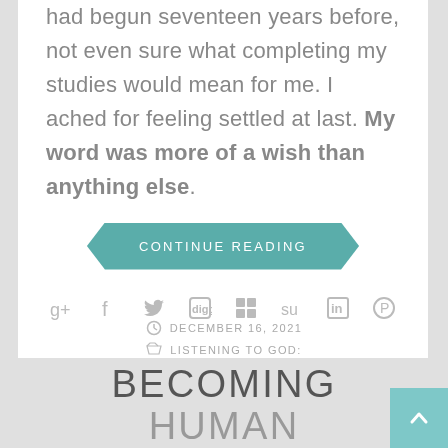had begun seventeen years before, not even sure what completing my studies would mean for me. I ached for feeling settled at last. My word was more of a wish than anything else.
CONTINUE READING
[Figure (infographic): Social share icons: Google+, Facebook, Twitter, Digg, Delicious, StumbleUpon, LinkedIn, Pinterest]
DECEMBER 16, 2021
LISTENING TO GOD:
BECOMING HUMAN